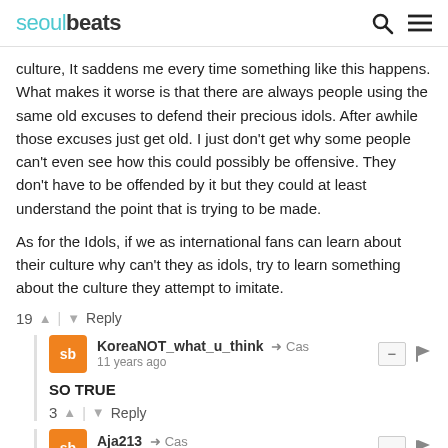seoulbeats
culture, It saddens me every time something like this happens. What makes it worse is that there are always people using the same old excuses to defend their precious idols. After awhile those excuses just get old. I just don't get why some people can't even see how this could possibly be offensive. They don't have to be offended by it but they could at least understand the point that is trying to be made.

As for the Idols, if we as international fans can learn about their culture why can't they as idols, try to learn something about the culture they attempt to imitate.
19 | Reply
KoreaNOT_what_u_think → Cas
11 years ago
SO TRUE
3 | Reply
Aja213 → Cas
11 years ago